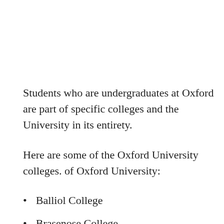Students who are undergraduates at Oxford are part of specific colleges and the University in its entirety.
Here are some of the Oxford University colleges. of Oxford University:
Balliol College
Brasenose College